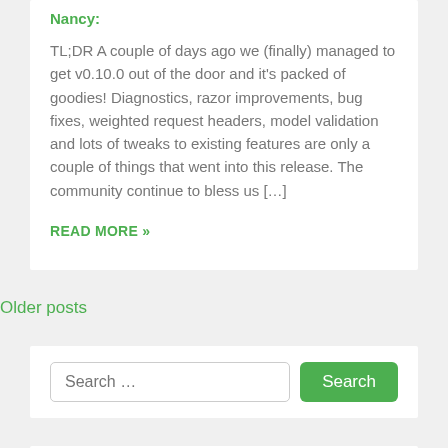Nancy:
TL;DR A couple of days ago we (finally) managed to get v0.10.0 out of the door and it's packed of goodies! Diagnostics, razor improvements, bug fixes, weighted request headers, model validation and lots of tweaks to existing features are only a couple of things that went into this release. The community continue to bless us […]
READ MORE »
Older posts
Search …
FIND ME